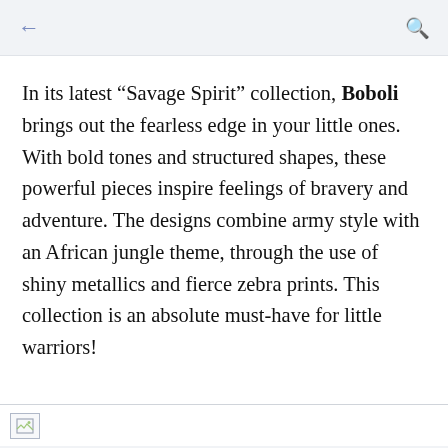← (back) | (search icon)
In its latest “Savage Spirit” collection, Boboli brings out the fearless edge in your little ones. With bold tones and structured shapes, these powerful pieces inspire feelings of bravery and adventure. The designs combine army style with an African jungle theme, through the use of shiny metallics and fierce zebra prints. This collection is an absolute must-have for little warriors!
[Figure (photo): Broken image placeholder at the bottom of the page]